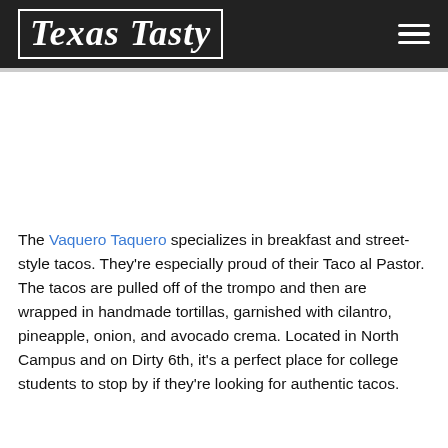Texas Tasty
The Vaquero Taquero specializes in breakfast and street-style tacos. They're especially proud of their Taco al Pastor. The tacos are pulled off of the trompo and then are wrapped in handmade tortillas, garnished with cilantro, pineapple, onion, and avocado crema. Located in North Campus and on Dirty 6th, it's a perfect place for college students to stop by if they're looking for authentic tacos.